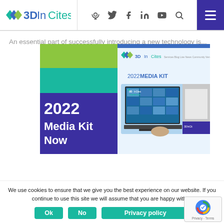3DInCites — navigation bar with logo and social icons
An essential part of successfully introducing a new technology is...
[Figure (photo): 3DInCites 2022 Media Kit promotional image showing a purple/teal/green layered design with '2022 Media Kit Now' text, a laptop displaying the 3DInCites Yearbook, and a trade show booth background]
We use cookies to ensure that we give you the best experience on our website. If you continue to use this site we will assume that you are happy with it.
Ok
No
Privacy policy